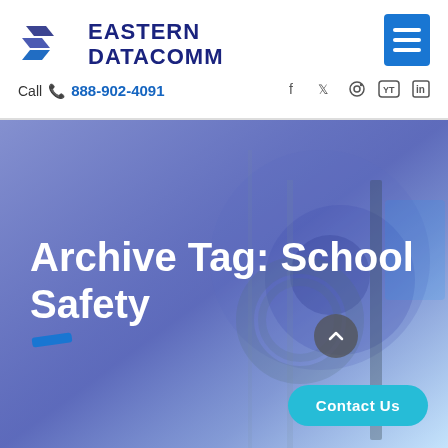[Figure (logo): Eastern Datacomm logo with stylized blue chevron/arrow shapes and bold navy text]
[Figure (screenshot): Blue hamburger menu button in top right corner]
Call 888-902-4091
[Figure (screenshot): Social media icons: Facebook, Twitter, Instagram, YouTube, LinkedIn]
[Figure (photo): Hero background: blue-tinted industrial/networking cables and equipment]
Archive Tag: School Safety